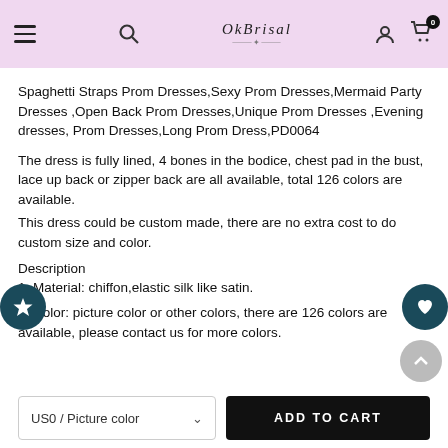OkBrisal navigation header with hamburger menu, search, logo, user icon, and cart (0)
Spaghetti Straps Prom Dresses,Sexy Prom Dresses,Mermaid Party Dresses ,Open Back Prom Dresses,Unique Prom Dresses ,Evening dresses, Prom Dresses,Long Prom Dress,PD0064
The dress is fully lined, 4 bones in the bodice, chest pad in the bust, lace up back or zipper back are all available, total 126 colors are available.
This dress could be custom made, there are no extra cost to do custom size and color.
Description
1, Material: chiffon,elastic silk like satin.
2, Color: picture color or other colors, there are 126 colors are available, please contact us for more colors.